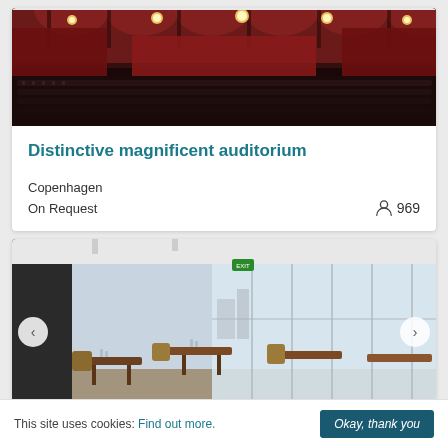[Figure (photo): Interior of a grand auditorium with red and gold decor, chandeliers, ornate arches, and rows of seating]
Distinctive magnificent auditorium
Copenhagen
On Request
969
[Figure (photo): Modern restaurant/conference room with wooden tables and chairs, floor-to-ceiling windows with city views]
This site uses cookies: Find out more.